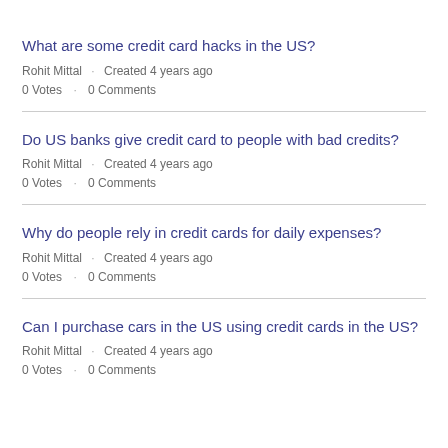What are some credit card hacks in the US?
Rohit Mittal · Created 4 years ago
0 Votes · 0 Comments
Do US banks give credit card to people with bad credits?
Rohit Mittal · Created 4 years ago
0 Votes · 0 Comments
Why do people rely in credit cards for daily expenses?
Rohit Mittal · Created 4 years ago
0 Votes · 0 Comments
Can I purchase cars in the US using credit cards in the US?
Rohit Mittal · Created 4 years ago
0 Votes · 0 Comments